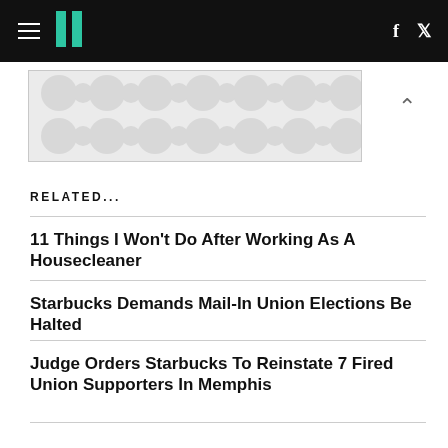HuffPost navigation with hamburger menu, logo, Facebook and Twitter icons
[Figure (other): Advertisement banner with decorative dot/circle pattern in light gray]
RELATED...
11 Things I Won't Do After Working As A Housecleaner
Starbucks Demands Mail-In Union Elections Be Halted
Judge Orders Starbucks To Reinstate 7 Fired Union Supporters In Memphis